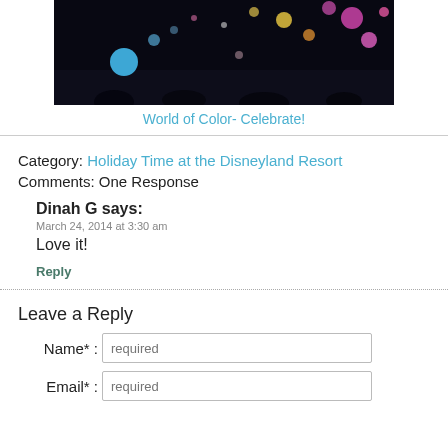[Figure (photo): Dark nighttime photo of World of Color show at Disneyland with colorful illuminated orbs/lights in pink, blue, yellow, orange against a dark sky with silhouetted crowd.]
World of Color- Celebrate!
Category: Holiday Time at the Disneyland Resort
Comments: One Response
Dinah G says:
March 24, 2014 at 3:30 am
Love it!
Reply
Leave a Reply
Name* : required
Email* : required